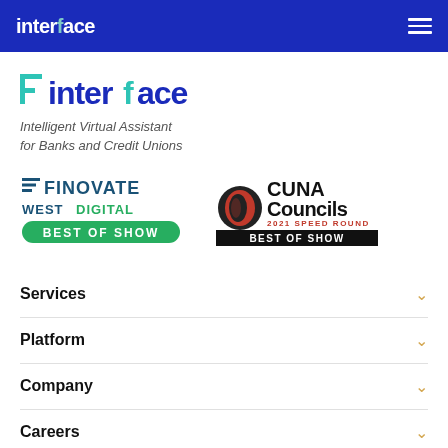interface (navigation bar with hamburger menu)
[Figure (logo): Interface brand logo with teal 'F' and dark blue 'interface' wordmark]
Intelligent Virtual Assistant for Banks and Credit Unions
[Figure (logo): Finovate West Digital Best of Show award badge]
[Figure (logo): CUNA Councils 2021 Speed Round Best of Show award badge]
Services
Platform
Company
Careers
Contact